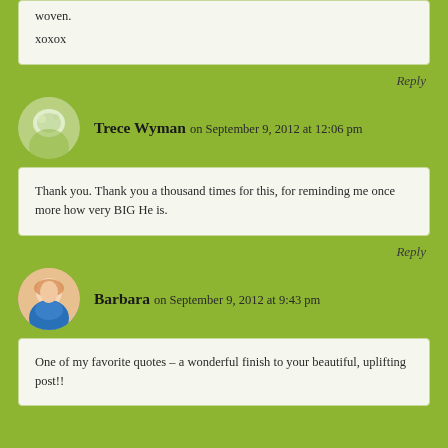woven.
xoxox
Reply
Trece Wyman on September 9, 2012 at 12:06 pm
Thank you. Thank you a thousand times for this, for reminding me once more how very BIG He is.
Reply
Barbara on September 9, 2012 at 9:43 pm
One of my favorite quotes – a wonderful finish to your beautiful, uplifting post!!